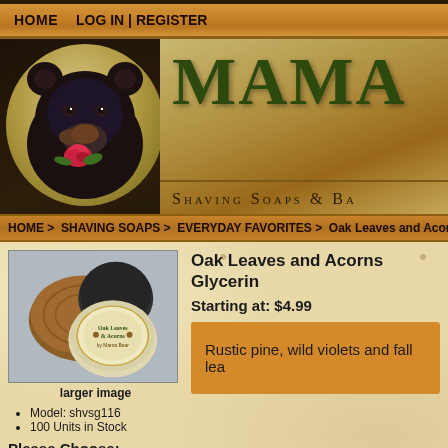HOME   LOG IN | REGISTER
[Figure (illustration): Website banner with a black bear holding a rose, and 'MAMA' text with 'SHAVING SOAPS & BA...' tagline on a wood-toned background]
HOME > SHAVING SOAPS > EVERYDAY FAVORITES > Oak Leaves and Acorns G
Oak Leaves and Acorns Glycerin...
Starting at: $4.99
[Figure (photo): Product photo of Oak Leaves and Acorns glycerin soap rounds in wood dish with label]
larger image
Model: shvsg116
100 Units in Stock
Rustic pine, wild violets and fall lea...
Please Choose:
5 oz. each ( $13.99 )